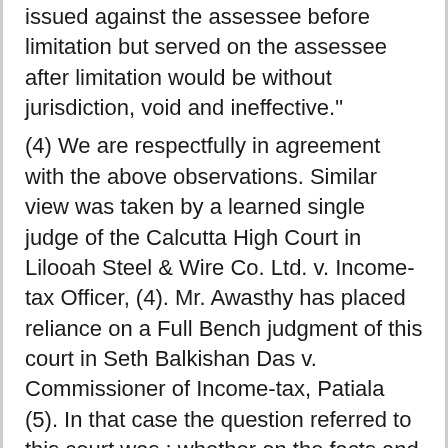issued against the assessee before limitation but served on the assessee after limitation would be without jurisdiction, void and ineffective."
(4) We are respectfully in agreement with the above observations. Similar view was taken by a learned single judge of the Calcutta High Court in Lilooah Steel & Wire Co. Ltd. v. Income-tax Officer, (4). Mr. Awasthy has placed reliance on a Full Bench judgment of this court in Seth Balkishan Das v. Commissioner of Income-tax, Patiala (5). In that case the question referred to this court was : whether on the facts and in the circumstances of the case, the service of the notice under section 34 on the assessee was invalid at law as copy of the notice was not affixed at any conspicuous place in hte court-house or at any conspicuous place in the income-tax office. The matter of such a visit